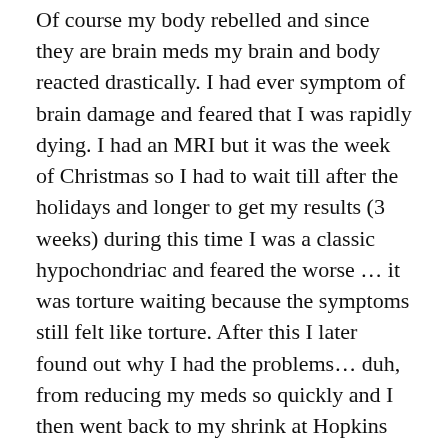Of course my body rebelled and since they are brain meds my brain and body reacted drastically. I had ever symptom of brain damage and feared that I was rapidly dying. I had an MRI but it was the week of Christmas so I had to wait till after the holidays and longer to get my results (3 weeks) during this time I was a classic hypochondriac and feared the worse … it was torture waiting because the symptoms still felt like torture. After this I later found out why I had the problems… duh, from reducing my meds so quickly and I then went back to my shrink at Hopkins with my tail between my legs.
I have had a number of other very trying times and have had to hold onto my life like a ship in awful weather each time. A few years ago I had vertigo and dizziness, very bad lack of balance